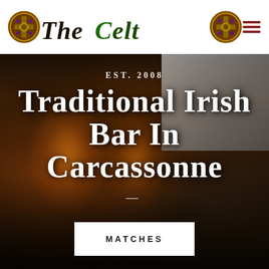[Figure (logo): The Celtic bar logo with ornate Celtic cross medallions on either side of the text 'The Celtic' in decorative medieval font, with green and gold coloring]
[Figure (photo): Exterior night photo of The Celtic Irish bar in Carcassonne, showing a warm-lit pub facade with people gathered outside on the street. Text overlaid reads 'EST. 2008' and 'Traditional Irish Bar In Carcassonne' in large white serif font, with a white 'MATCHES' button at the bottom.]